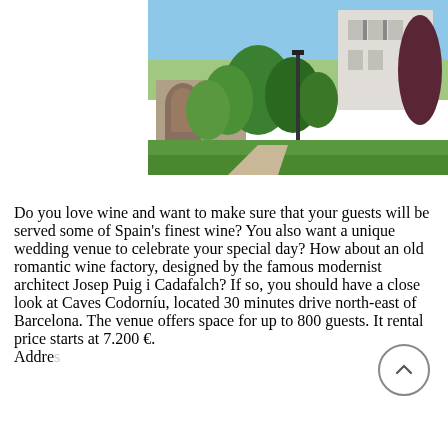[Figure (photo): Outdoor photo of Caves Codorníu winery venue showing stone arch building on left, white modernist building on right, green trees and garden in center, blue sky above.]
Do you love wine and want to make sure that your guests will be served some of Spain's finest wine? You also want a unique wedding venue to celebrate your special day? How about an old romantic wine factory, designed by the famous modernist architect Josep Puig i Cadafalch? If so, you should have a close look at Caves Codorníu, located 30 minutes drive north-east of Barcelona. The venue offers space for up to 800 guests. It rental price starts at 7.200 €. Address: ...